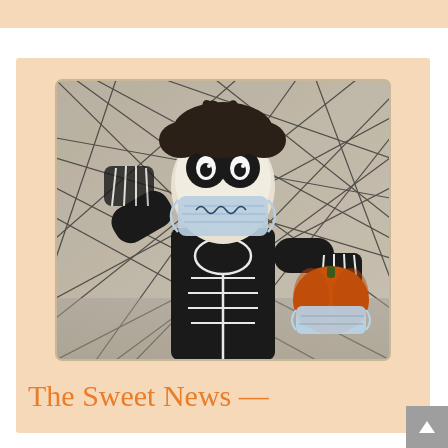[Figure (photo): A person in a black skeleton costume with skull face paint and a light blue medical mask over the lower half of their face. They hold a pumpkin also wearing a medical mask. The background has dark wispy black web-like strands against a light background. The photo is displayed on a peach/salmon colored card background.]
The Sweet News —